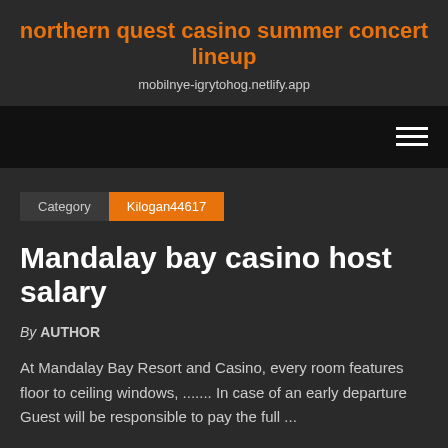northern quest casino summer concert lineup
mobilnye-igrytohog.netlify.app
Category  Kilogan44617
Mandalay bay casino host salary
By AUTHOR
At Mandalay Bay Resort and Casino, every room features floor to ceiling windows, ....... In case of an early departure Guest will be responsible to pay the full ...